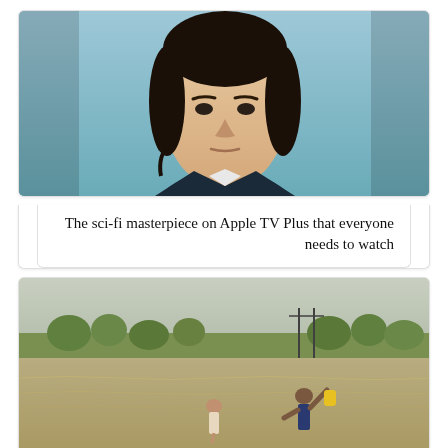[Figure (photo): Close-up photo of a man with dark hair in front of a blue/teal background, looking directly at camera with a serious expression]
The sci-fi masterpiece on Apple TV Plus that everyone needs to watch
[Figure (photo): Photo of two people wading through floodwaters in what appears to be a flooded plain area, with trees and utility poles visible in the background]
Flood-hit Pakistani village in Punjab evacuated